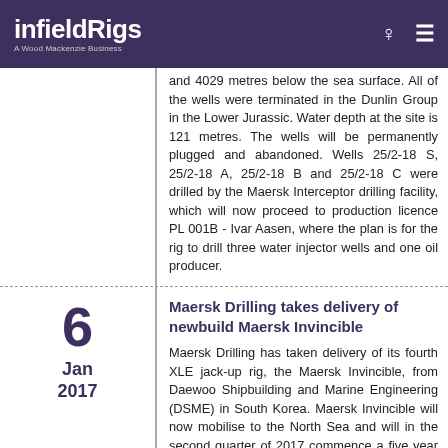infieldRigs — A Wood Mackenzie Business
and 4029 metres below the sea surface. All of the wells were terminated in the Dunlin Group in the Lower Jurassic. Water depth at the site is 121 metres. The wells will be permanently plugged and abandoned. Wells 25/2-18 S, 25/2-18 A, 25/2-18 B and 25/2-18 C were drilled by the Maersk Interceptor drilling facility, which will now proceed to production licence PL 001B - Ivar Aasen, where the plan is for the rig to drill three water injector wells and one oil producer.
Maersk Drilling takes delivery of newbuild Maersk Invincible
6 Jan 2017
Maersk Drilling has taken delivery of its fourth XLE jack-up rig, the Maersk Invincible, from Daewoo Shipbuilding and Marine Engineering (DSME) in South Korea. Maersk Invincible will now mobilise to the North Sea and will in the second quarter of 2017 commence a five year firm contract with Aker BP for plug and abandonment work on the